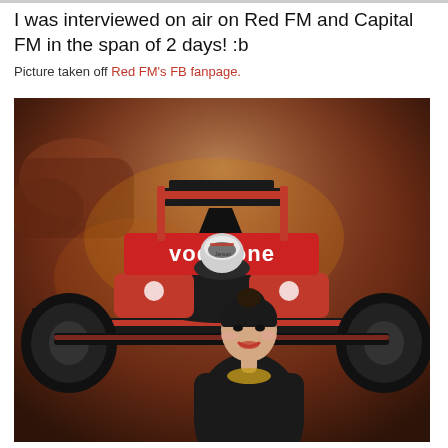I was interviewed on air on Red FM and Capital FM in the span of 2 days! :b
Picture taken off Red FM's FB fanpage.
[Figure (photo): A young woman with dark hair in a bun and red lipstick, wearing a black top and gold necklace, stands in front of a large McLaren Vodafone Formula 1 car display backdrop with crowd behind it.]